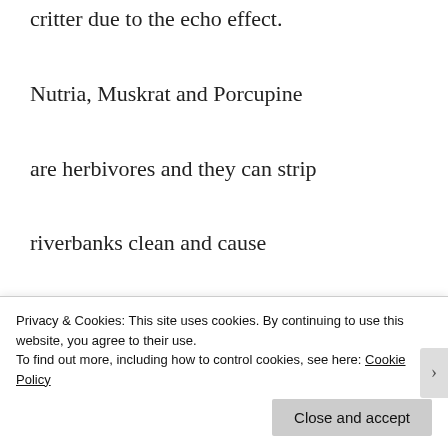critter due to the echo effect. Nutria, Muskrat and Porcupine are herbivores and they can strip riverbanks clean and cause serious erosion issues and conflicts. The Wildlife Professionals can put an end to this for you once and for all. Bird Removal -Bird Control service in Lafayette, IN.
Privacy & Cookies: This site uses cookies. By continuing to use this website, you agree to their use. To find out more, including how to control cookies, see here: Cookie Policy
Close and accept